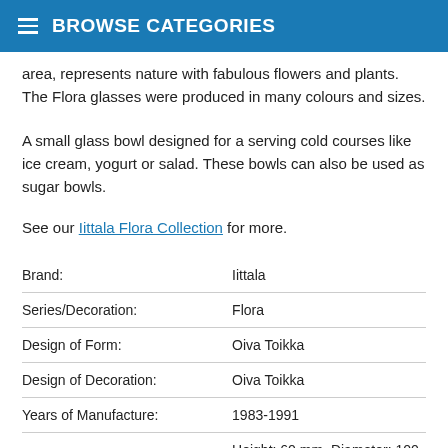BROWSE CATEGORIES
area, represents nature with fabulous flowers and plants. The Flora glasses were produced in many colours and sizes.
A small glass bowl designed for a serving cold courses like ice cream, yogurt or salad. These bowls can also be used as sugar bowls.
See our Iittala Flora Collection for more.
| Brand: | Iittala |
| Series/Decoration: | Flora |
| Design of Form: | Oiva Toikka |
| Design of Decoration: | Oiva Toikka |
| Years of Manufacture: | 1983-1991 |
| Measurements: | Height: 60 mm, Diameter: 100 mm |
| Material: | Glass |